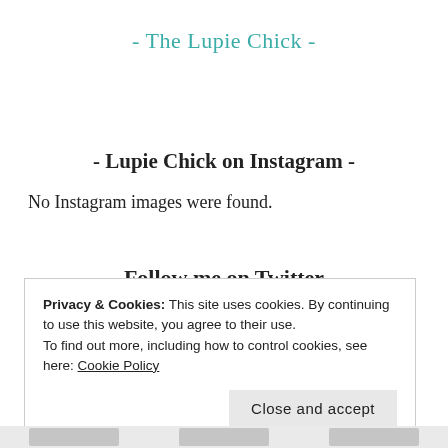- The Lupie Chick -
- Lupie Chick on Instagram -
No Instagram images were found.
- Follow me on Twitter -
Privacy & Cookies: This site uses cookies. By continuing to use this website, you agree to their use.
To find out more, including how to control cookies, see here: Cookie Policy
Close and accept